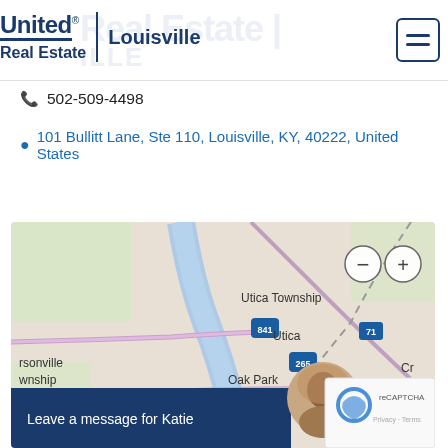United Real Estate | Louisville
502-509-4498
101 Bullitt Lane, Ste 110, Louisville, KY, 40222, United States
[Figure (map): Interactive street map showing Utica Township, Utica, Oak Park, Jeffersonville, and surrounding areas in the Louisville, KY region with zoom controls]
Leave a message for Katie